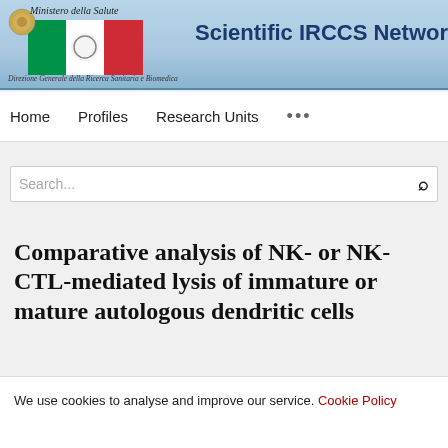Scientific IRCCS Network — Ministero della Salute — Direzione Generale della Ricerca Sanitaria e Biomedica
Home
Profiles
Research Units
Comparative analysis of NK- or NK-CTL-mediated lysis of immature or mature autologous dendritic cells
We use cookies to analyse and improve our service. Cookie Policy